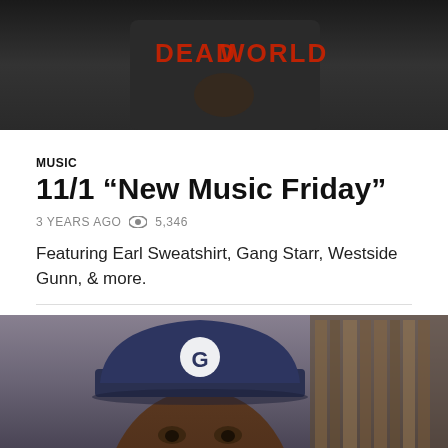[Figure (photo): Top portion of a person wearing a dark hoodie/jacket with 'DEAD WORLD' text visible in red lettering]
MUSIC
11/1 “New Music Friday”
3 YEARS AGO  👁  5,346
Featuring Earl Sweatshirt, Gang Starr, Westside Gunn, & more.
[Figure (photo): Close-up portrait of a young Black man wearing a navy blue cap with a white 'G' logo, with record shelves visible in background]